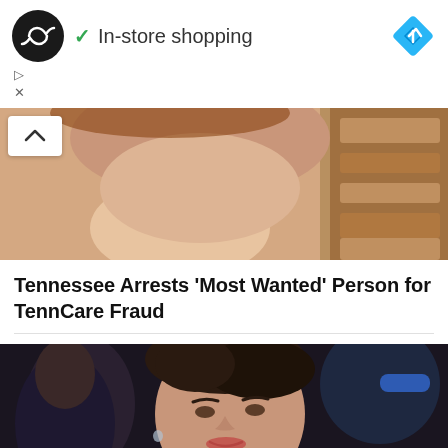[Figure (screenshot): Mobile app top bar with black circular logo with infinity symbol, green checkmark with 'In-store shopping' text, and blue diamond navigation icon]
▷
X
[Figure (photo): Close-up photo of a person's lower face and neck in a courtroom setting with wooden benches visible in background]
Tennessee Arrests ‘Most Wanted’ Person for TennCare Fraud
[Figure (photo): Photo of a woman with dark hair pulled up, wearing dark clothing, smiling slightly at what appears to be a public event]